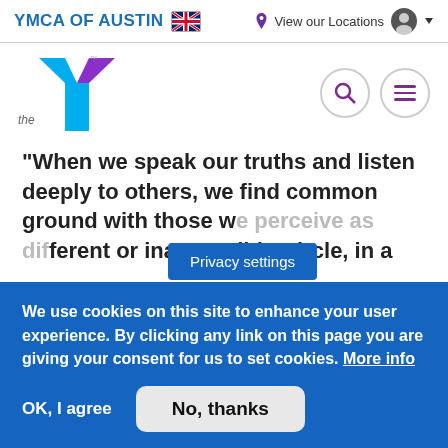YMCA OF AUSTIN  View our Locations
[Figure (logo): YMCA logo with the Y chevron shape in blue and purple colors, with 'the' text to the left]
“When we speak our truths and listen deeply to others, we find common ground with those we perceive as different or inaccessible … Circle, in a
Privacy settings
We use cookies on this site to enhance your user experience. By clicking any link on this page you are giving your consent for us to set cookies. More info
OK, I agree   No, thanks